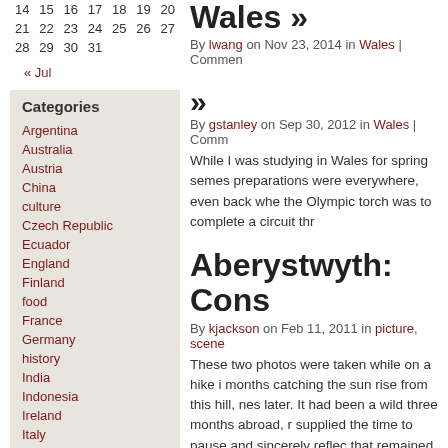| 14 | 15 | 16 | 17 | 18 | 19 | 20 |
| 21 | 22 | 23 | 24 | 25 | 26 | 27 |
| 28 | 29 | 30 | 31 |  |  |  |
« Jul
Categories
Argentina
Australia
Austria
China
culture
Czech Republic
Ecuador
England
Finland
food
France
Germany
history
India
Indonesia
Ireland
Italy
Wales »
By lwang on Nov 23, 2014 in Wales | Comment
»
By gstanley on Sep 30, 2012 in Wales | Comm
While I was studying in Wales for spring semes preparations were everywhere, even back whe the Olympic torch was to complete a circuit thr
Aberystwyth: Cons
By kjackson on Feb 11, 2011 in picture, scene
These two photos were taken while on a hike i months catching the sun rise from this hill, nes later. It had been a wild three months abroad, r supplied the time to pause and sincerely reflec that remained empty on my checklist for the du a weekly basis. On the hike, my three classma spent much of her fall ill and dealing with witne were able to relate to the girl's tragic experienc sojourn, living the highlights vicariously through